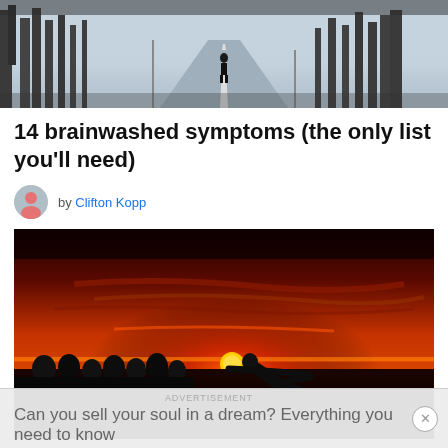[Figure (photo): A misty road with a lone figure in dark clothing standing in the distance, surrounded by bare trees in fog]
14 brainwashed symptoms (the only list you'll need)
by Clifton Kopp
[Figure (photo): A dramatic red sunset silhouette scene showing a person bending down appearing to touch the sun on the horizon, with a group of silhouetted people watching in the background]
ADVERTISEMENT
Can you sell your soul in a dream? Everything you need to know